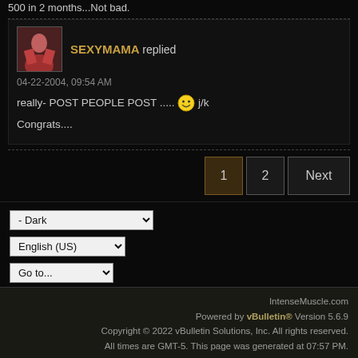500 in 2 months...Not bad.
SEXYMAMA replied
04-22-2004, 09:54 AM
really- POST PEOPLE POST ..... j/k
Congrats....
Page navigation: 1 2 Next
- Dark
English (US)
Go to...
IntenseMuscle.com
Powered by vBulletin® Version 5.6.9
Copyright © 2022 vBulletin Solutions, Inc. All rights reserved.
All times are GMT-5. This page was generated at 07:57 PM.